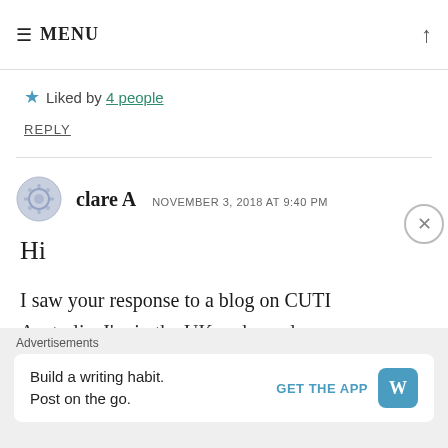≡ MENU
★ Liked by 4 people
REPLY
clare A  NOVEMBER 3, 2018 AT 9:40 PM
Hi
I saw your response to a blog on CUTI Australia. I'm in the UK and am also a
Advertisements
Build a writing habit. Post on the go.  GET THE APP